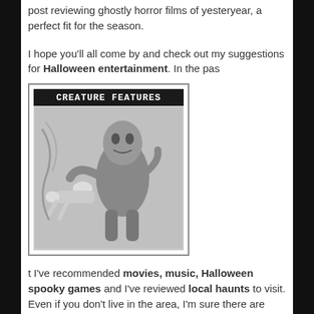post reviewing ghostly horror films of yesteryear, a perfect fit for the season.
I hope you'll all come by and check out my suggestions for Halloween entertainment. In the pas
[Figure (photo): Black and white image with title 'CREATURE FEATURES' showing a monster creature carrying a person]
t I've recommended movies, music, Halloween spooky games and I've reviewed local haunts to visit. Even if you don't live in the area, I'm sure there are equivalent attractions in your neighborhood to visit.
And before year's end I'll have a special announcement about a special horror fiction project I've been working on.